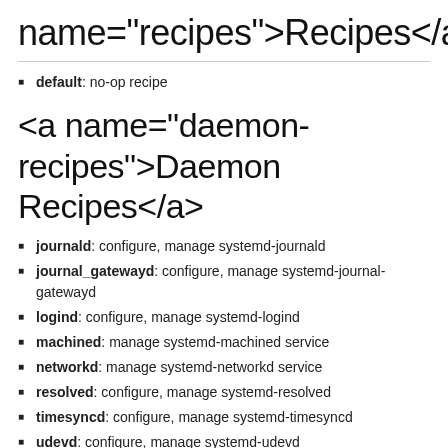name="recipes">Recipes</a>
default: no-op recipe
<a name="daemon-recipes">Daemon Recipes</a>
journald: configure, manage systemd-journald
journal_gatewayd: configure, manage systemd-journal-gatewayd
logind: configure, manage systemd-logind
machined: manage systemd-machined service
networkd: manage systemd-networkd service
resolved: configure, manage systemd-resolved
timesyncd: configure, manage systemd-timesyncd
udevd: configure, manage systemd-udevd
<a name="utility-